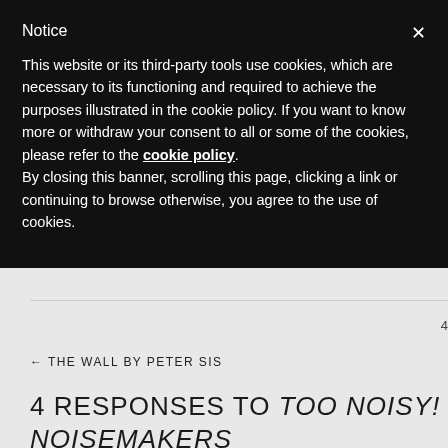Notice
This website or its third-party tools use cookies, which are necessary to its functioning and required to achieve the purposes illustrated in the cookie policy. If you want to know more or withdraw your consent to all or some of the cookies, please refer to the cookie policy. By closing this banner, scrolling this page, clicking a link or continuing to browse otherwise, you agree to the use of cookies.
4
← THE WALL BY PETER SIS
4 RESPONSES TO TOO NOISY! + NOISEMAKERS